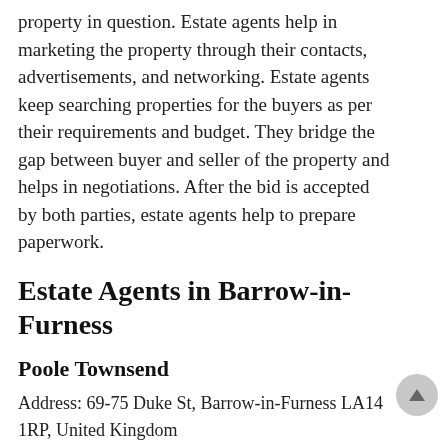property in question. Estate agents help in marketing the property through their contacts, advertisements, and networking. Estate agents keep searching properties for the buyers as per their requirements and budget. They bridge the gap between buyer and seller of the property and helps in negotiations. After the bid is accepted by both parties, estate agents help to prepare paperwork.
Estate Agents in Barrow-in-Furness
Poole Townsend
Address: 69-75 Duke St, Barrow-in-Furness LA14 1RP, United Kingdom
Phone: +44 1229 811811